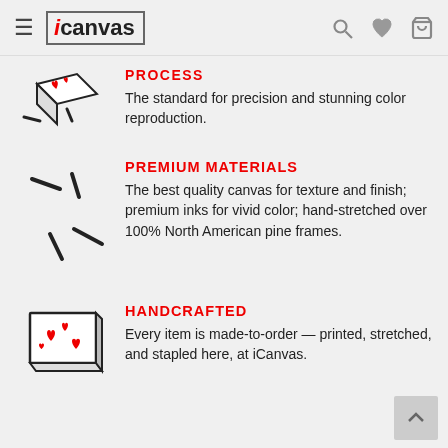iCanvas — navigation header with menu, logo, search, wishlist, and cart icons
PROCESS
The standard for precision and stunning color reproduction.
[Figure (illustration): Isometric illustration of a canvas print with red hearts being stretched, shown with staples/pins floating around it]
PREMIUM MATERIALS
The best quality canvas for texture and finish; premium inks for vivid color; hand-stretched over 100% North American pine frames.
[Figure (illustration): Isometric illustration of loose staples/pins scattered around representing premium materials]
HANDCRAFTED
Every item is made-to-order — printed, stretched, and stapled here, at iCanvas.
[Figure (illustration): Isometric illustration of a framed canvas print with red hearts, shown from the front]